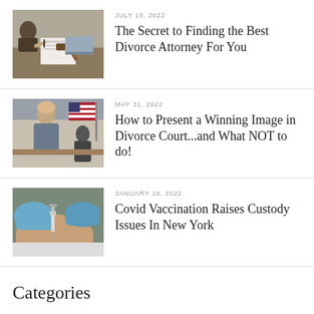[Figure (photo): Person at desk with gavel and papers, legal/courtroom setting]
JULY 15, 2022
The Secret to Finding the Best Divorce Attorney For You
[Figure (photo): Woman and American flag in courtroom setting]
MAY 31, 2022
How to Present a Winning Image in Divorce Court...and What NOT to do!
[Figure (photo): Medical gloves administering a vaccine injection]
JANUARY 18, 2022
Covid Vaccination Raises Custody Issues In New York
Categories
Agreements